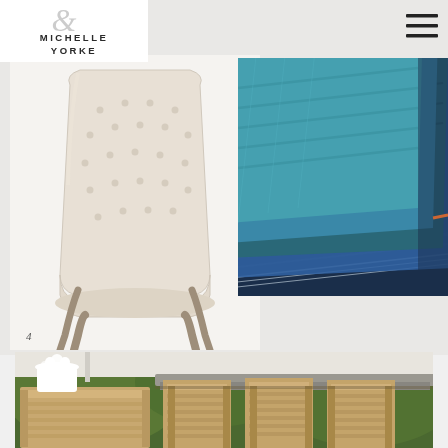[Figure (logo): Michelle Yorke interior design logo with decorative ampersand]
[Figure (photo): Beige tufted dining chair with wooden legs on white background]
[Figure (photo): Folded blue fabric swatches in various textures and shades]
4
[Figure (photo): Outdoor teak furniture setting with dining table and chairs in garden]